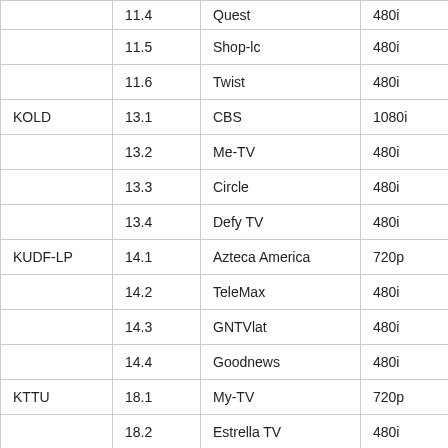| Station | Channel | Network | Format |
| --- | --- | --- | --- |
|  | 11.4 | Quest | 480i |
|  | 11.5 | Shop-lc | 480i |
|  | 11.6 | Twist | 480i |
| KOLD | 13.1 | CBS | 1080i |
|  | 13.2 | Me-TV | 480i |
|  | 13.3 | Circle | 480i |
|  | 13.4 | Defy TV | 480i |
| KUDF-LP | 14.1 | Azteca America | 720p |
|  | 14.2 | TeleMax | 480i |
|  | 14.3 | GNTVlat | 480i |
|  | 14.4 | Goodnews | 480i |
| KTTU | 18.1 | My-TV | 720p |
|  | 18.2 | Estrella TV | 480i |